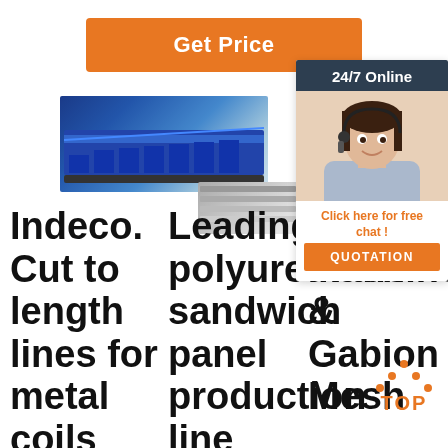[Figure (other): Orange 'Get Price' button at the top center of the page]
[Figure (photo): Collection of industrial metal cutting and forming machine photos arranged in a row, including cut-to-length lines and sandwich panel production machines]
[Figure (other): 24/7 Online customer service panel with agent photo, 'Click here for free chat!' text and orange QUOTATION button]
Indeco. Cut to length lines for metal coils
Leading polyurethane sandwich panel production line
Quality Machine & Gabion Mesh
[Figure (other): TOP badge with orange triangle/arrow design and 'TOP' text in orange letters]